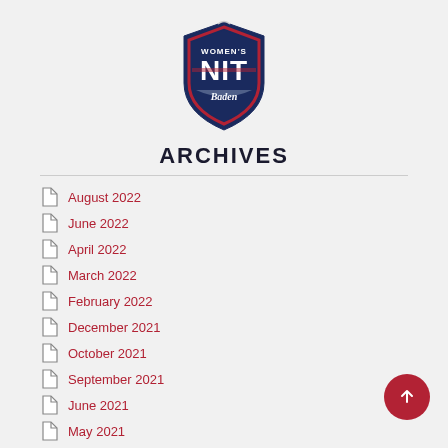[Figure (logo): Women's NIT Baden shield/crest logo in navy blue, red and white]
ARCHIVES
August 2022
June 2022
April 2022
March 2022
February 2022
December 2021
October 2021
September 2021
June 2021
May 2021